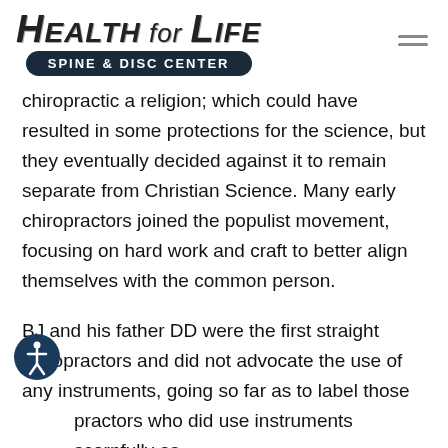[Figure (logo): Health for Life Spine & Disc Center logo with hamburger menu icon]
chiropractic a religion; which could have resulted in some protections for the science, but they eventually decided against it to remain separate from Christian Science. Many early chiropractors joined the populist movement, focusing on hard work and craft to better align themselves with the common person.
BJ and his father DD were the first straight chiropractors and did not advocate the use of any instruments, going so far as to label those chiropractors who did use instruments scornfully as "mixers". Later in life; BJ changed his perspective and